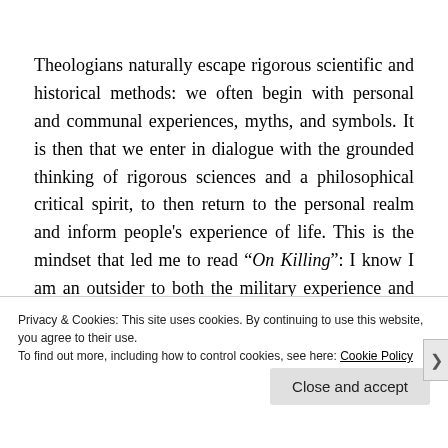Theologians naturally escape rigorous scientific and historical methods: we often begin with personal and communal experiences, myths, and symbols. It is then that we enter in dialogue with the grounded thinking of rigorous sciences and a philosophical critical spirit, to then return to the personal realm and inform people's experience of life. This is the mindset that led me to read “On Killing”: I know I am an outsider to both the military experience and the
Privacy & Cookies: This site uses cookies. By continuing to use this website, you agree to their use.
To find out more, including how to control cookies, see here: Cookie Policy